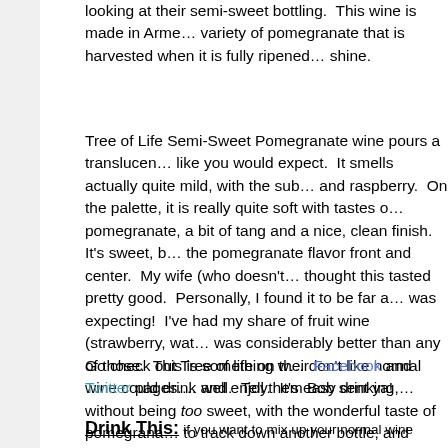looking at their semi-sweet bottling. This wine is made in Armenia from a variety of pomegranate that is harvested when it is fully ripened under the sun shine.
Tree of Life Semi-Sweet Pomegranate wine pours a translucent red, just like you would expect. It smells actually quite mild, with the subtle scents and raspberry. On the palette, it is really quite soft with tastes of pomegranate, a bit of tang and a nice, clean finish. It's sweet, but keeps the pomegranate flavor front and center. My wife (who doesn't like wine) thought this tasted pretty good. Personally, I found it to be far above what I was expecting! I've had my share of fruit wine (strawberry, watermelon) and this was considerably better than any of those. This is something wine fans who don't like normal wine could drink and enjoy. It's easy drinking, sweet but without being too sweet, with the wonderful taste of pomegranate. I'd love to track down another bottle, and perhaps give the semi-dry a try. Worth trying.
Go check out Tree of life on their Facebook and Twitter pages. Connect as well. Tell them Bob sent ya!
Drink This: if you want to mix up your normal wine routine with some